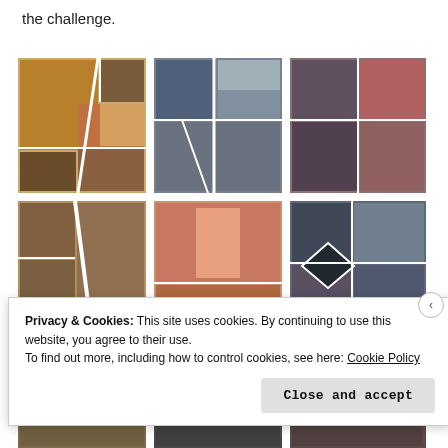the challenge.
[Figure (photo): A 3x3 grid of movie/TV show collage images arranged in mosaic style, featuring film stills with actors and scenes in various genres]
Privacy & Cookies: This site uses cookies. By continuing to use this website, you agree to their use.
To find out more, including how to control cookies, see here: Cookie Policy
Close and accept